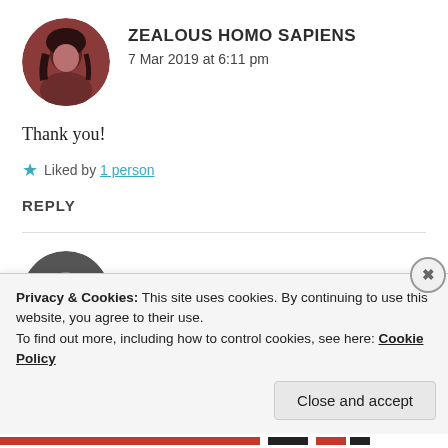ZEALOUS HOMO SAPIENS
7 Mar 2019 at 6:11 pm
Thank you!
★ Liked by 1 person
REPLY
NIRANT GURAV
Privacy & Cookies: This site uses cookies. By continuing to use this website, you agree to their use.
To find out more, including how to control cookies, see here: Cookie Policy
Close and accept